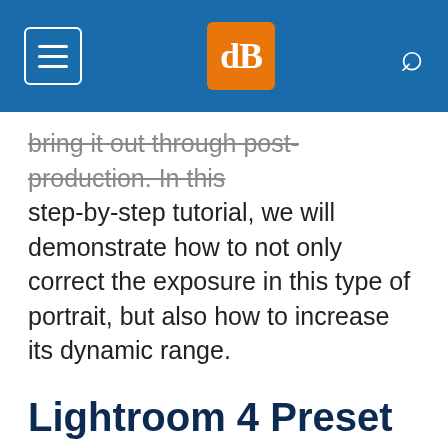dPS [logo]
bring it out through post-production. In this step-by-step tutorial, we will demonstrate how to not only correct the exposure in this type of portrait, but also how to increase its dynamic range.
Lightroom 4 Preset System Mixology
This effect can be achieved quickly in under a